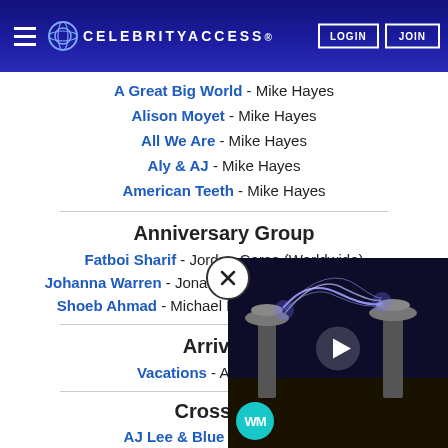CELEBRITYACCESS. LOGIN JOIN
A Great Big World - Mike Hayes
Alison Moyet - Mike Hayes
All We Are - Mike Hayes
Aly & AJ - Mike Hayes
American Teeth - Mike Hayes
Anniversary Group
Fatboi Sharif - Jordan Corso (Worldwide)
Johanna Warren - Jonathan Mattson (North America)
Shoeb Ahmad - Michael Lojudice (North America)
Arrival A...
Vacations - Ali Hedrick (N...
Crossover...
AJ Lee & Blue Summit - Cha...
[Figure (screenshot): Video player overlay showing Tesla coil electric arc photo with play button and WM badge, with close (X) button]